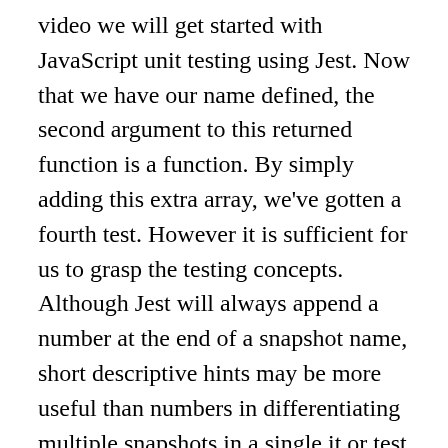video we will get started with JavaScript unit testing using Jest. Now that we have our name defined, the second argument to this returned function is a function. By simply adding this extra array, we've gotten a fourth test. However it is sufficient for us to grasp the testing concepts. Although Jest will always append a number at the end of a snapshot name, short descriptive hints may be more useful than numbers in differentiating multiple snapshots in a single it or test block. Maybe we do that several times. But luckily, in Jest you can reduce all these tests into one simple test: test.each(table)(name, fn, timeout) There are two ways to use this method: -